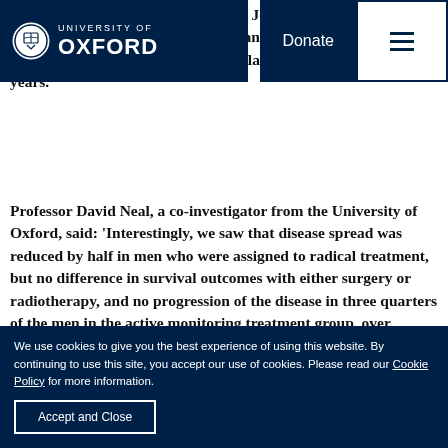University of Oxford — navigation bar with logo, Donate button, and menu
have,' said co-investigator Professor Jenny Donovan, ity of Bristol. 'Each tre different impacts and effects, and we need longer follow up to see how those balance out over the next 10 years.'
Professor David Neal, a co-investigator from the University of Oxford, said: 'Interestingly, we saw that disease spread was reduced by half in men who were assigned to radical treatment, but no difference in survival outcomes with either surgery or radiotherapy, and no progression of the disease in three quarters of the men in the active monitoring treatment group, over
We use cookies to give you the best experience of using this website. By continuing to use this site, you accept our use of cookies. Please read our Cookie Policy for more information.
Accept and Close